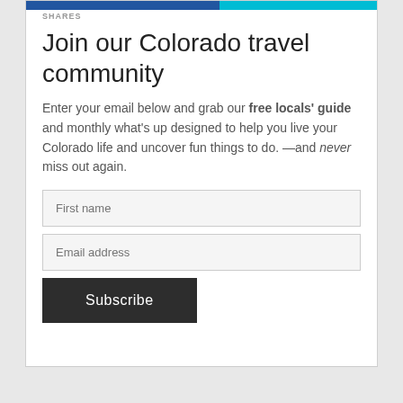SHARES
Join our Colorado travel community
Enter your email below and grab our free locals' guide and monthly what's up designed to help you live your Colorado life and uncover fun things to do. —and never miss out again.